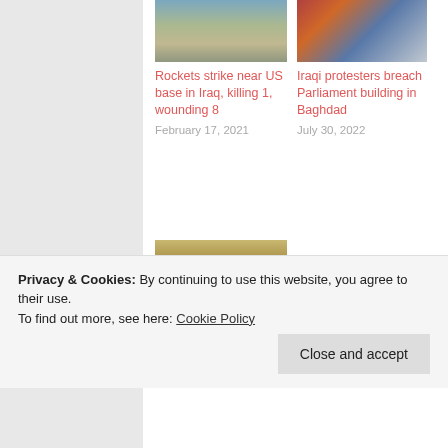[Figure (photo): Aerial/road photo near US base in Iraq]
Rockets strike near US base in Iraq, killing 1, wounding 8
February 17, 2021
[Figure (photo): Iraqi protesters breaching Parliament building]
Iraqi protesters breach Parliament building in Baghdad
July 30, 2022
[Figure (photo): Photo of Trump]
Trump pardons 15, commutes 5 sentences, including GOP
Privacy & Cookies: By continuing to use this website, you agree to their use.
To find out more, see here: Cookie Policy
Close and accept